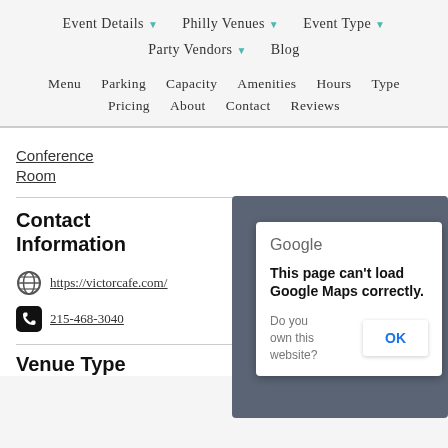Event Details ▼   Philly Venues ▼   Event Type ▼   Party Vendors ▼   Blog
Menu   Parking   Capacity   Amenities   Hours   Type   Pricing   About   Contact   Reviews
Conference Room
Contact Information
https://victorcafe.com/
215-468-3040
[Figure (screenshot): Google Maps error dialog on a blue-grey background. Shows 'Google' logo text, then bold text 'This page can't load Google Maps correctly.', then 'Do you own this website?' with an OK button.]
Venue Type